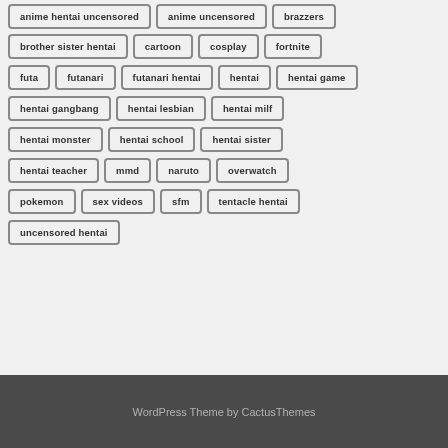anime hentai uncensored
anime uncensored
brazzers
brother sister hentai
cartoon
cosplay
fortnite
futa
futanari
futanari hentai
hentai
hentai game
hentai gangbang
hentai lesbian
hentai milf
hentai monster
hentai school
hentai sister
hentai teacher
mmd
naruto
overwatch
pokemon
sex videos
sfm
tentacle hentai
uncensored hentai
WordPress Theme by CactusThemes